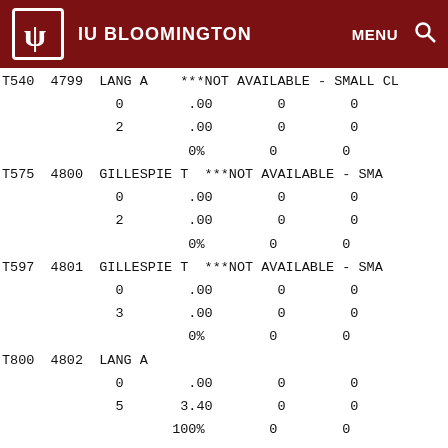IU BLOOMINGTON — MENU
| Course | Sect | Instructor | Status | Col1 | Col2 | Col3 |
| --- | --- | --- | --- | --- | --- | --- |
| T540 | 4799 | LANG A | ***NOT AVAILABLE - SMALL CL |  |  |  |
|  |  |  | 0 | .00 | 0 | 0 |
|  |  |  | 2 | .00 | 0 | 0 |
|  |  |  | 0% | 0 | 0 |  |
| T575 | 4800 | GILLESPIE T | ***NOT AVAILABLE - SMA |  |  |  |
|  |  |  | 0 | .00 | 0 | 0 |
|  |  |  | 2 | .00 | 0 | 0 |
|  |  |  | 0% | 0 | 0 |  |
| T597 | 4801 | GILLESPIE T | ***NOT AVAILABLE - SMA |  |  |  |
|  |  |  | 0 | .00 | 0 | 0 |
|  |  |  | 3 | .00 | 0 | 0 |
|  |  |  | 0% | 0 | 0 |  |
| T800 | 4802 | LANG A |  |  |  |  |
|  |  |  | 0 | .00 | 0 | 0 |
|  |  |  | 5 | 3.40 | 0 | 0 |
|  |  |  | 100% | 0 | 0 |  |